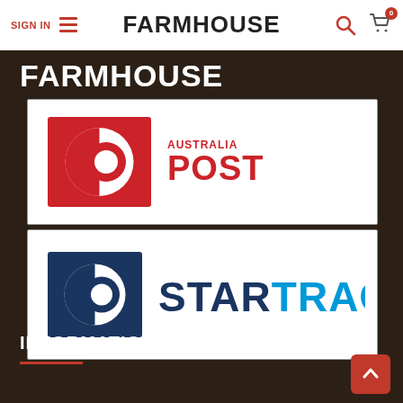SIGN IN | FARMHOUSE
FARMHOUSE
[Figure (logo): Australia Post logo: red square with stylized P letter and text AUSTRALIA POST in red]
[Figure (logo): StarTrack logo: dark blue square with stylized letter and STARTRACK text in blue]
INFORMATION